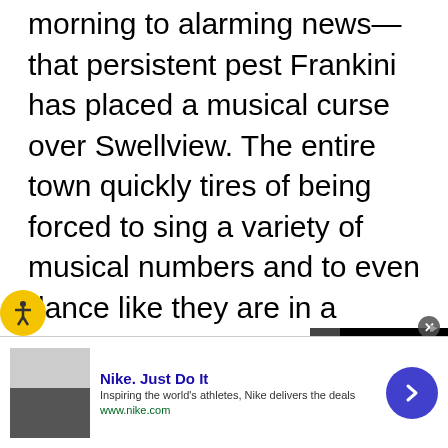morning to alarming news—that persistent pest Frankini has placed a musical curse over Swellview. The entire town quickly tires of being forced to sing a variety of musical numbers and to even dance like they are in a chorus line. When Captain Man and Kid Danger discover that they cannot punch and kick their way out of this problem, they are forced to bring in an unlikely ally to help them fight Frankini on his own turf--by taking him on in an epic, live-streamed sing battle to end the curse once and for all."
[Figure (screenshot): Nike advertisement banner at bottom of page with Nike logo text, description, URL, and arrow button. Includes small website screenshot thumbnail. Ad close button (X) visible.]